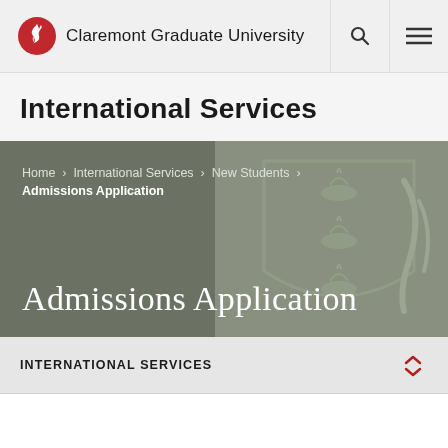Claremont Graduate University
International Services
[Figure (screenshot): Hero banner with dark olive/grey background showing breadcrumb navigation and large 'Admissions Application' title, with CGU crest watermark on right side]
Home › International Services › New Students › Admissions Application
Admissions Application
INTERNATIONAL SERVICES